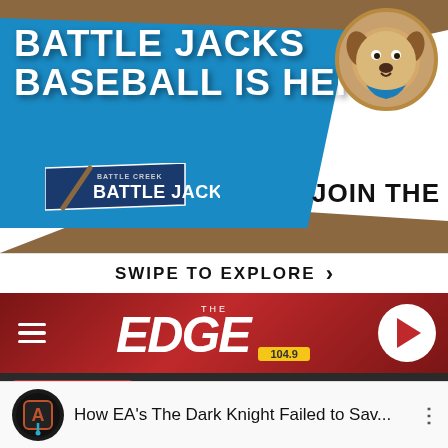[Figure (infographic): Battle Jacks Baseball advertisement banner with blue and brown background, dog mascot logo, Battle Jacks logo, and 'JOIN THE' text]
SWIPE TO EXPLORE ›
[Figure (logo): The Edge 104.9 radio station header with red background, hamburger menu, Edge logo, and play button]
LISTEN NOW ► DANA MARSHALL
[Figure (screenshot): Black video area / media player]
How EA's The Dark Knight Failed to Sav...